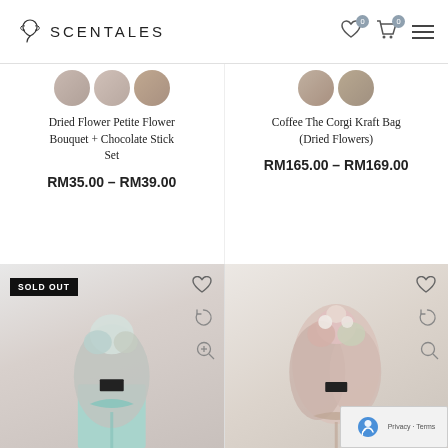[Figure (logo): Scentales logo with leaf/flower icon and text SCENTALES]
Dried Flower Petite Flower Bouquet + Chocolate Stick Set
RM35.00 – RM39.00
Coffee The Corgi Kraft Bag (Dried Flowers)
RM165.00 – RM169.00
[Figure (photo): Dried flower bouquet with mint green box and ribbon. SOLD OUT badge shown.]
[Figure (photo): Dried flower bouquet wrapped in pink/cream paper with pink flowers and cotton accents.]
Privacy · Terms